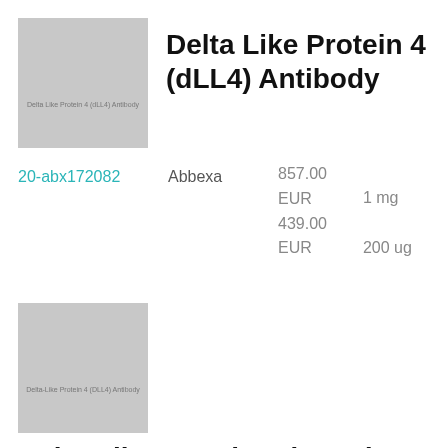[Figure (photo): Product thumbnail image placeholder for Delta Like Protein 4 (dLL4) Antibody, gray rectangle with label text]
Delta Like Protein 4 (dLL4) Antibody
20-abx172082    Abbexa    857.00 EUR  1 mg
439.00 EUR  200 ug
[Figure (photo): Product thumbnail image placeholder for Delta-Like Protein 4 (DLL4) Antibody, gray rectangle with label text]
Delta-Like Protein 4 (DLL4) Antibody